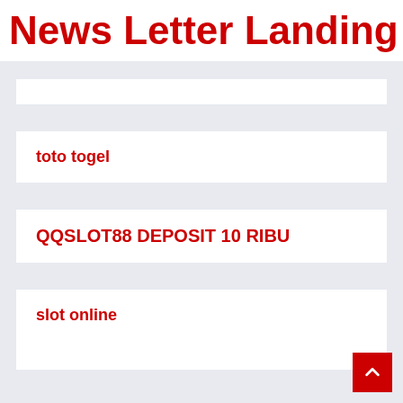News Letter Landing Pag
toto togel
QQSLOT88 DEPOSIT 10 RIBU
slot online